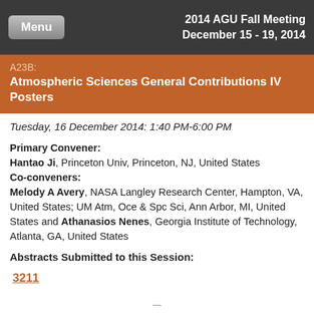2014 AGU Fall Meeting December 15 - 19, 2014
A23B: Atmospheric Sciences General Contributions IV Posters
Tuesday, 16 December 2014: 1:40 PM-6:00 PM
Primary Convener: Hantao Ji, Princeton Univ, Princeton, NJ, United States Co-conveners: Melody A Avery, NASA Langley Research Center, Hampton, VA, United States; UM Atm, Oce & Spc Sci, Ann Arbor, MI, United States and Athanasios Nenes, Georgia Institute of Technology, Atlanta, GA, United States
Abstracts Submitted to this Session:
3211